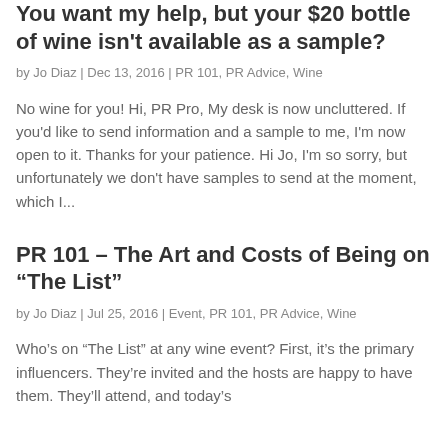You want my help, but your $20 bottle of wine isn't available as a sample?
by Jo Diaz | Dec 13, 2016 | PR 101, PR Advice, Wine
No wine for you! Hi, PR Pro, My desk is now uncluttered. If you'd like to send information and a sample to me, I'm now open to it. Thanks for your patience. Hi Jo, I'm so sorry, but unfortunately we don't have samples to send at the moment, which I...
PR 101 – The Art and Costs of Being on “The List”
by Jo Diaz | Jul 25, 2016 | Event, PR 101, PR Advice, Wine
Who’s on “The List” at any wine event? First, it’s the primary influencers. They’re invited and the hosts are happy to have them. They’ll attend, and today’s